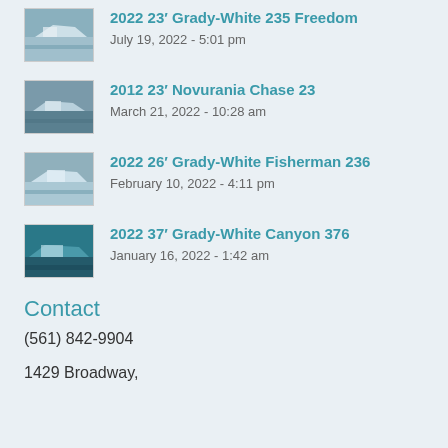2022 23′ Grady-White 235 Freedom
July 19, 2022 - 5:01 pm
2012 23′ Novurania Chase 23
March 21, 2022 - 10:28 am
2022 26′ Grady-White Fisherman 236
February 10, 2022 - 4:11 pm
2022 37′ Grady-White Canyon 376
January 16, 2022 - 1:42 am
Contact
(561) 842-9904
1429 Broadway,